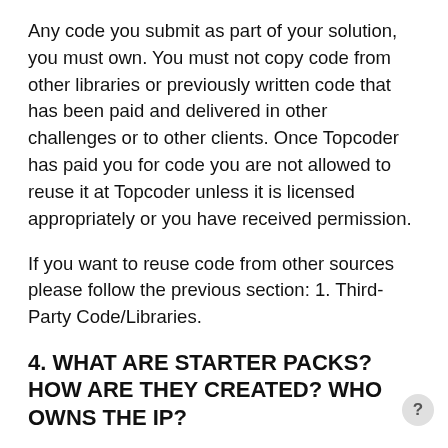Any code you submit as part of your solution, you must own. You must not copy code from other libraries or previously written code that has been paid and delivered in other challenges or to other clients. Once Topcoder has paid you for code you are not allowed to reuse it at Topcoder unless it is licensed appropriately or you have received permission.
If you want to reuse code from other sources please follow the previous section: 1. Third-Party Code/Libraries.
4. WHAT ARE STARTER PACKS? HOW ARE THEY CREATED? WHO OWNS THE IP?
Starter Packs are small sets of code that that can serve as a starting point for application development. Topcoder owns the IP for Starter Packs, and we absolutely encourage you to re-use them for all projects. With Start